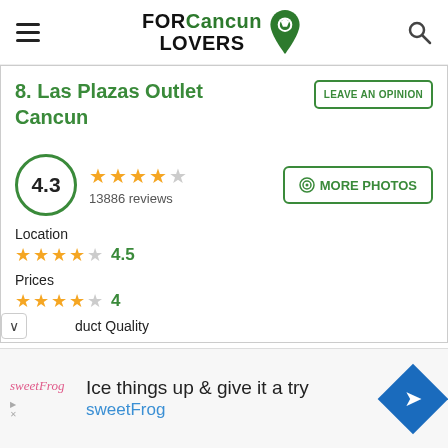FOR Cancun LOVERS
8. Las Plazas Outlet Cancun
LEAVE AN OPINION
4.3  13886 reviews
MORE PHOTOS
Location  4.5
Prices  4
duct Quality
Ice things up & give it a try  sweetFrog